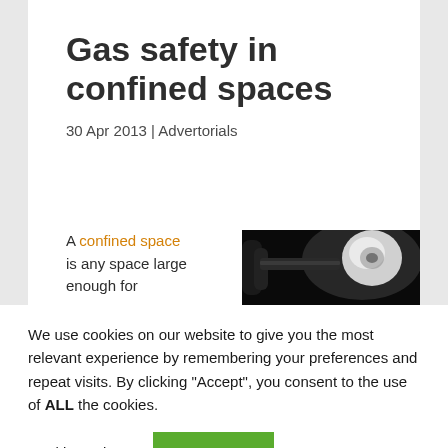Gas safety in confined spaces
30 Apr 2013 | Advertorials
A confined space is any space large enough for
[Figure (photo): Close-up photo of a gas fitting or pipe connector against a dark background]
We use cookies on our website to give you the most relevant experience by remembering your preferences and repeat visits. By clicking “Accept”, you consent to the use of ALL the cookies.
Cookie settings  ACCEPT